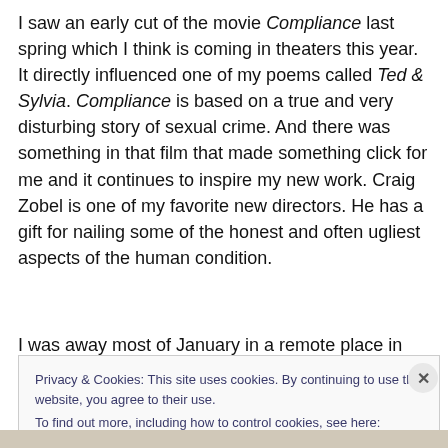I saw an early cut of the movie Compliance last spring which I think is coming in theaters this year. It directly influenced one of my poems called Ted & Sylvia. Compliance is based on a true and very disturbing story of sexual crime. And there was something in that film that made something click for me and it continues to inspire my new work. Craig Zobel is one of my favorite new directors. He has a gift for nailing some of the honest and often ugliest aspects of the human condition.
I was away most of January in a remote place in the
Privacy & Cookies: This site uses cookies. By continuing to use this website, you agree to their use.
To find out more, including how to control cookies, see here: Cookie Policy